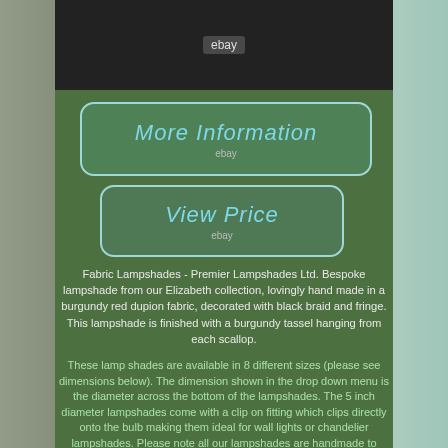[Figure (photo): Top portion of a lampshade with black fringe and red/burgundy fabric, with eBay watermark overlay]
[Figure (screenshot): More Information button with cyan italic text and eBay label, rounded rectangle border on green background]
[Figure (screenshot): View Price button with cyan italic text and eBay label, rounded rectangle border on green background]
Fabric Lampshades - Premier Lampshades Ltd. Bespoke lampshade from our Elizabeth collection, lovingly hand made in a burgundy red dupion fabric, decorated with black braid and fringe. This lampshade is finished with a burgundy tassel hanging from each scallop.
These lamp shades are available in 8 different sizes (please see dimensions below). The dimension shown in the drop down menu is the diameter across the bottom of the lampshades. The 5 inch diameter lampshades come with a clip on fitting which clips directly onto the bulb making them ideal for wall lights or chandelier lampshades. Please note all our lampshades are handmade to order. Please ensure that you order the correct size of lampshade you require. Height (Including Fringe And